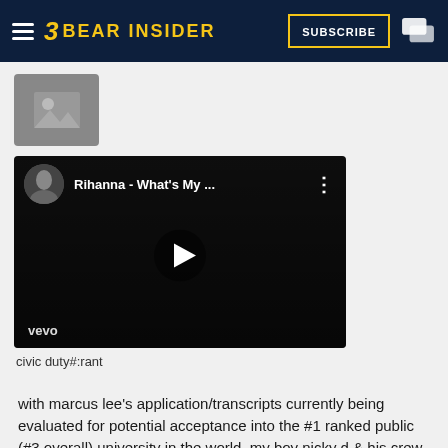BEAR INSIDER
[Figure (illustration): Grey image placeholder icon with mountain/photo symbol]
[Figure (screenshot): YouTube video embed thumbnail for Rihanna - What's My ... with vevo branding and play button]
civic duty#:rant
with marcus lee's application/transcripts currently being evaluated for potential acceptance into the #1 ranked public (#3 overall) university in the world, my boy nicky d & his crew have also asked me to analyze & reorganize cal's bureaucratic admissions department